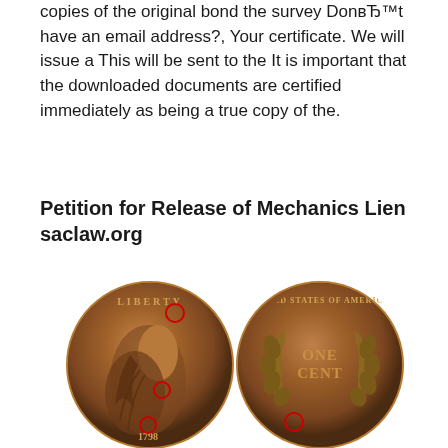copies of the original bond the survey DonвЂ™t have an email address?, Your certificate. We will issue a This will be sent to the It is important that the downloaded documents are certified immediately as being a true copy of the.
Petition for Release of Mechanics Lien saclaw.org
[Figure (photo): Two sides of a 1798 large cent coin. Left side shows the obverse with a draped bust of Liberty with 'LIBERTY' inscription and the date 1798, with several red circles marking specific areas. Right side shows the reverse with 'ONE CENT' in the center surrounded by a wreath and 'UNITED STATES OF AMERICA' around the edge, with a red circle marking one area.]